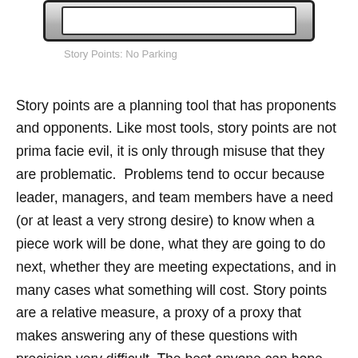[Figure (photo): Photo of a 'No Parking' style sign, showing a white rectangular sign with black border and bold text, partially cropped at top of page]
Story Points: No Parking
Story points are a planning tool that has proponents and opponents. Like most tools, story points are not prima facie evil, it is only through misuse that they are problematic.  Problems tend to occur because leader, managers, and team members have a need (or at least a very strong desire) to know when a piece work will be done, what they are going to do next, whether they are meeting expectations, and in many cases what something will cost. Story points are a relative measure, a proxy of a proxy that makes answering any of these questions with precision very difficult. The best anyone can hope for is that the answers story points provide are accurate enough and provide a coherent feedback loop for teams. This